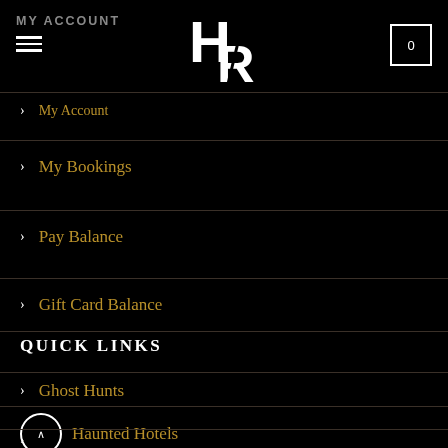MY ACCOUNT
[Figure (logo): HR stylized logo in white text on black background]
> My Account
> My Bookings
> Pay Balance
> Gift Card Balance
QUICK LINKS
> Ghost Hunts
> Haunted Hotels